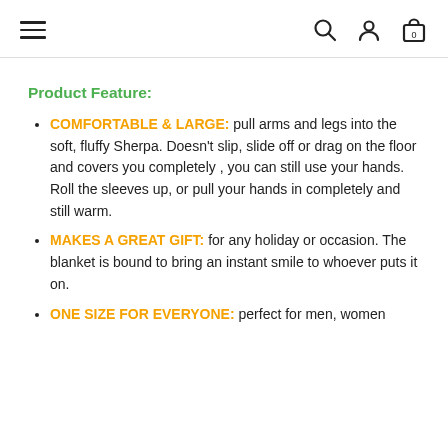Navigation header with hamburger menu, search, account, and cart icons
Product Feature:
COMFORTABLE & LARGE: pull arms and legs into the soft, fluffy Sherpa. Doesn't slip, slide off or drag on the floor and covers you completely , you can still use your hands. Roll the sleeves up, or pull your hands in completely and still warm.
MAKES A GREAT GIFT: for any holiday or occasion. The blanket is bound to bring an instant smile to whoever puts it on.
ONE SIZE FOR EVERYONE: perfect for men, women